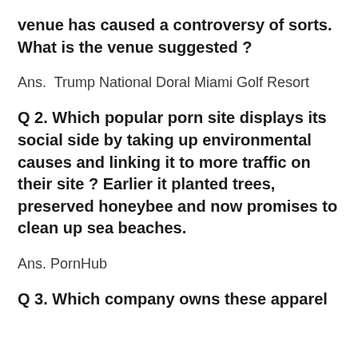venue has caused a controversy of sorts. What is the venue suggested ?
Ans.  Trump National Doral Miami Golf Resort
Q 2. Which popular porn site displays its social side by taking up environmental causes and linking it to more traffic on their site ? Earlier it planted trees, preserved honeybee and now promises to clean up sea beaches.
Ans. PornHub
Q 3. Which company owns these apparel